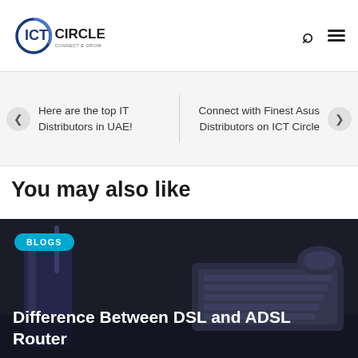ICT CIRCLE — Connect & Grow
Here are the top IT Distributors in UAE!
Connect with Finest Asus Distributors on ICT Circle
You may also like
[Figure (photo): Dark photo of a router device with keyboard/mouse in background, with BLOGS badge and title overlay]
Difference Between DSL and ADSL Router